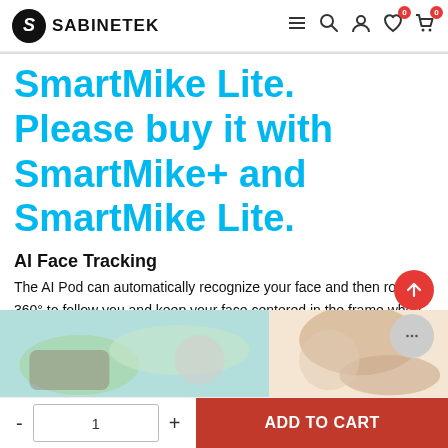SABINETEK
SmartMike Lite. Please buy it with SmartMike+ and SmartMike Lite.
AI Face Tracking
The AI Pod can automatically recognize your face and then rotate 360° to follow you and keep your face centered in the frame when shooting video. Perfect for Vlogging, video shooting, etc.
[Figure (photo): Two side-by-side product/lifestyle photos at the bottom of the page]
- 1 + ADD TO CART